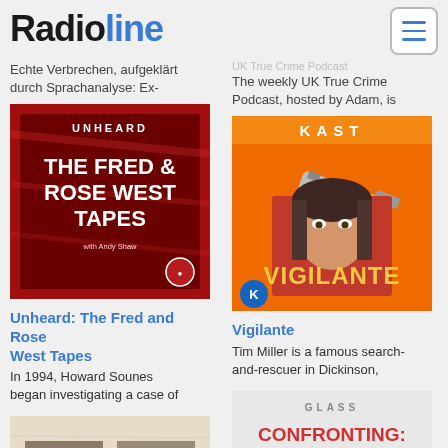Radioline
Echte Verbrechen, aufgeklärt durch Sprachanalyse: Ex-
UK True Crime Podcast — The weekly UK True Crime Podcast, hosted by Adam, is
[Figure (illustration): Podcast cover art: Unheard: The Fred and Rose West Tapes — dark red background with gun imagery and bold white text]
Unheard: The Fred and Rose West Tapes
In 1994, Howard Sounes began investigating a case of
[Figure (illustration): Podcast cover art: Vigilante — red/orange background with gun and woman's face, KAST branding]
Vigilante
Tim Miller is a famous search-and-rescuer in Dickinson,
[Figure (illustration): Podcast cover art: Buffet Froid — vintage sepia photo of two older men with red stamp overlay and French text]
Buffet Froid
[Figure (illustration): Podcast cover art: Confronting O.J. Simpson with Kim Goldman — white/grey background with bold red/black text and black gloved hands]
Confronting: O.J. Simpson with Kim Goldman